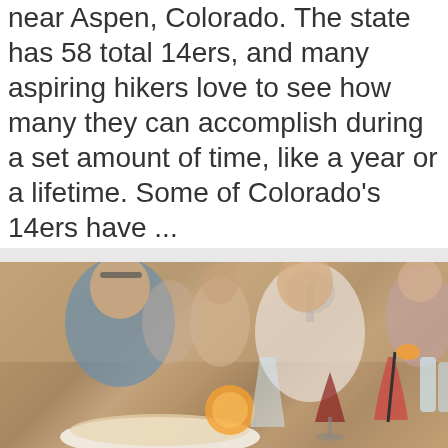near Aspen, Colorado. The state has 58 total 14ers, and many aspiring hikers love to see how many they can accomplish during a set amount of time, like a year or a lifetime. Some of Colorado's 14ers have ...
[Read more...]
Activities, Lodging
climbing, hiking
[Figure (photo): Outdoor restaurant scene with people dining at tables, food and drinks in foreground including wine glasses, cocktails, and plates of food]